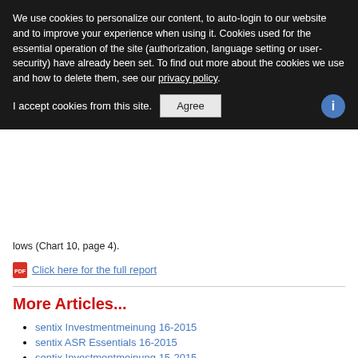We use cookies to personalize our content, to auto-login to our website and to improve your experience when using it. Cookies used for the essential operation of the site (authorization, language setting or user-security) have already been set. To find out more about the cookies we use and how to delete them, see our privacy policy.
I accept cookies from this site.
lows (Chart 10, page 4).
Click here for the full report
More Articles...
sentix Investmentmeinung 16-2015
sentix ASR Essentials 16-2015
sentix Investmentmeinung 15-2015
sentix ASR Essentials 15-2015
sentix Investmentmeinung 14-2015
Page 126
<< Start < Prev 121 122 123 124 125 1